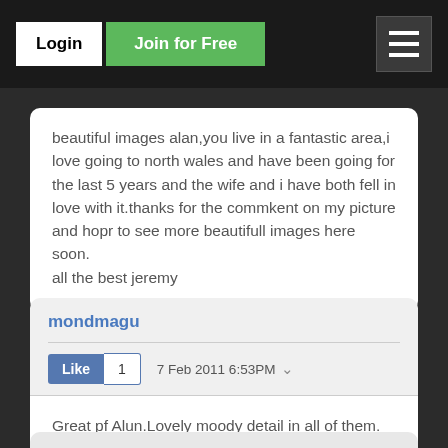Login | Join for Free
beautiful images alan,you live in a fantastic area,i love going to north wales and have been going for the last 5 years and the wife and i have both fell in love with it.thanks for the commkent on my picture and hopr to see more beautifull images here soon.
all the best jeremy
mondmagu
Like 1  7 Feb 2011 6:53PM
Great pf Alun.Lovely moody detail in all of them.

Des